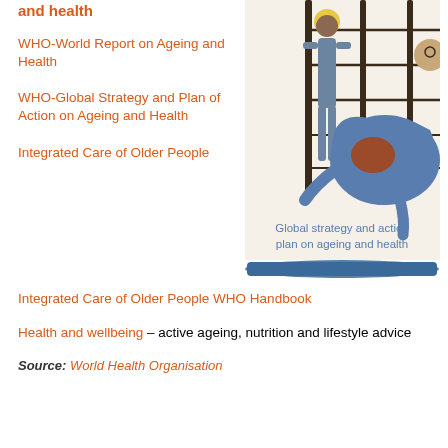and health
WHO-World Report on Ageing and Health
WHO-Global Strategy and Plan of Action on Ageing and Health
[Figure (illustration): Illustration showing two figures (one standing, one crouching/sitting) with a 'Global strategy and action plan on ageing and health' caption and a blue brushstroke at the bottom]
Integrated Care of Older People
Integrated Care of Older People WHO Handbook
Health and wellbeing – active ageing, nutrition and lifestyle advice
Source: World Health Organisation